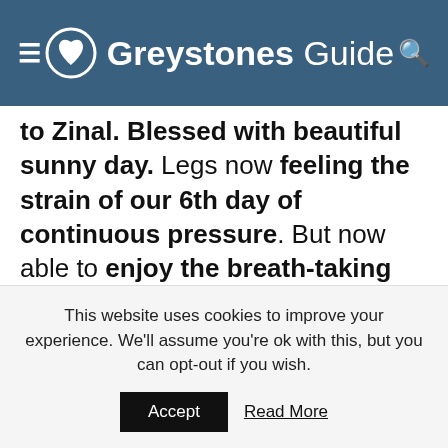Greystones Guide
to Zinal. Blessed with beautiful sunny day. Legs now feeling the strain of our 6th day of continuous pressure. But now able to enjoy the breath-taking scenery that surrounded us – feeling great and grateful to have been gifted with the most amazing
This website uses cookies to improve your experience. We'll assume you're ok with this, but you can opt-out if you wish.